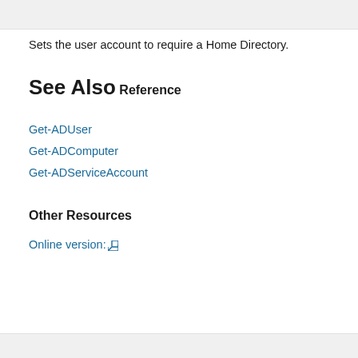Sets the user account to require a Home Directory.
See Also
Reference
Get-ADUser
Get-ADComputer
Get-ADServiceAccount
Other Resources
Online version: